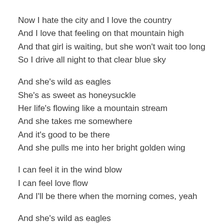Now I hate the city and I love the country
And I love that feeling on that mountain high
And that girl is waiting, but she won't wait too long
So I drive all night to that clear blue sky
And she's wild as eagles
She's as sweet as honeysuckle
Her life's flowing like a mountain stream
And she takes me somewhere
And it's good to be there
And she pulls me into her bright golden wing
I can feel it in the wind blow
I can feel love flow
And I'll be there when the morning comes, yeah
And she's wild as eagles